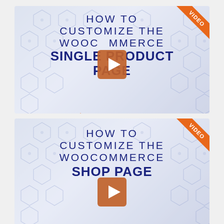[Figure (screenshot): Video thumbnail for 'How to Customize the WooCommerce Single Product Page' by Business Bloomer, with orange VIDEO ribbon and play button overlay]
[Figure (screenshot): Video thumbnail for 'How to Customize the WooCommerce Shop Page' by Business Bloomer, with orange VIDEO ribbon and play button overlay, partially cut off]